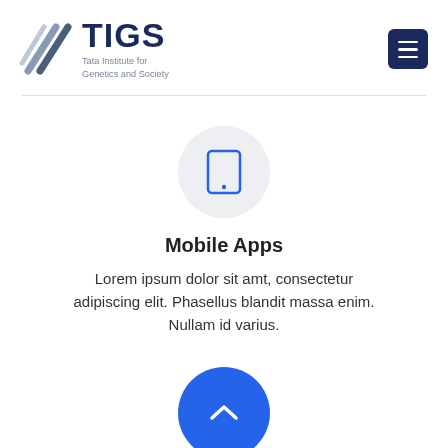[Figure (logo): TIGS logo with diagonal lines icon and text 'Tata Institute for Genetics and Society']
[Figure (illustration): Gray circle background with blue tablet/phone icon inside]
Mobile Apps
Lorem ipsum dolor sit amt, consectetur adipiscing elit. Phasellus blandit massa enim. Nullam id varius.
[Figure (illustration): Blue circle partially visible at the bottom with white chevron/arrow icon]